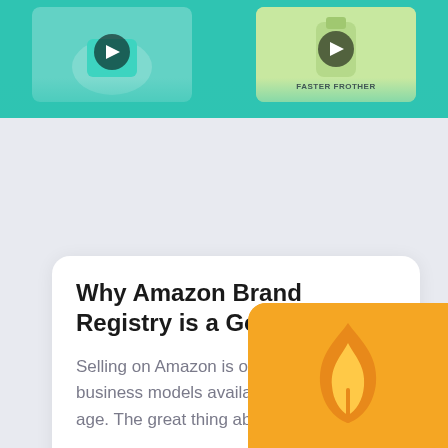[Figure (screenshot): Top teal banner with two video thumbnails, one showing an illustration with a play button and another showing a milk frother illustration labeled FASTER FROTHER with a play button]
Why Amazon Brand Registry is a Good Solution
Selling on Amazon is one of the best business models available in this day and age. The great thing about selling on…
READ MORE
[Figure (illustration): Partial gold/yellow rounded square app icon with a flame or leaf logo visible at the bottom right corner of the page]